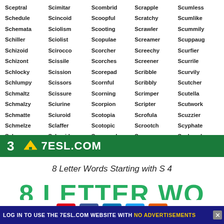Sceptral, Schedule, Schemata, Schiller, Schizoid, Schizont, Schlocky, Schlumpy, Schmaltz, Schmalzy, Schmatte, Schmelze, Schmoose, Sentinel, Scimitar, Scincoid, Sciolism, Sciolist, Scirocco, Scissile, Scission, Scissors, Scissure, Sciurine, Sciuroid, Sclaffer, Sclereid, Sepaline, Scombrid, Scoopful, Scooting, Scopulae, Scorcher, Scorches, Scorepad, Scornful, Scorning, Scorpion, Scotopia, Scotopic, Scourged, Sepaloid, Scrapple, Scratchy, Scrawler, Screamer, Screechy, Screener, Scribble, Scribbly, Scrimper, Scripter, Scrofula, Scrootch, Scrounge, Sepalous, Scumless, Scumlike, Scummily, Scuppaug, Scurfier, Scurrile, Scurvily, Scutcher, Scutella, Scutwork, Scuzzier, Scyphate, Seabeach, Separate
3 7ESL.COM
8 Letter Words Starting with S 4
[Figure (other): Partial large green heading text and social sharing buttons partially visible]
LOG IN TO USE THE 7ESL.COM WEBSITE WITH NO ADVERTISEMENTS